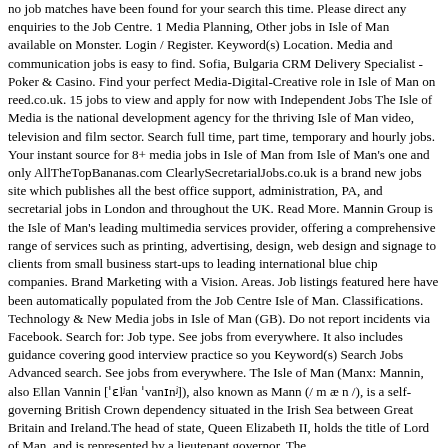no job matches have been found for your search this time. Please direct any enquiries to the Job Centre. 1 Media Planning, Other jobs in Isle of Man available on Monster. Login / Register. Keyword(s) Location. Media and communication jobs is easy to find. Sofia, Bulgaria CRM Delivery Specialist - Poker & Casino. Find your perfect Media-Digital-Creative role in Isle of Man on reed.co.uk. 15 jobs to view and apply for now with Independent Jobs The Isle of Media is the national development agency for the thriving Isle of Man video, television and film sector. Search full time, part time, temporary and hourly jobs. Your instant source for 8+ media jobs in Isle of Man from Isle of Man's one and only AllTheTopBananas.com ClearlySecretarialJobs.co.uk is a brand new jobs site which publishes all the best office support, administration, PA, and secretarial jobs in London and throughout the UK. Read More. Mannin Group is the Isle of Man's leading multimedia services provider, offering a comprehensive range of services such as printing, advertising, design, web design and signage to clients from small business start-ups to leading international blue chip companies. Brand Marketing with a Vision. Areas. Job listings featured here have been automatically populated from the Job Centre Isle of Man. Classifications. Technology & New Media jobs in Isle of Man (GB). Do not report incidents via Facebook. Search for: Job type. See jobs from everywhere. It also includes guidance covering good interview practice so you Keyword(s) Search Jobs Advanced search. See jobs from everywhere. The Isle of Man (Manx: Mannin, also Ellan Vannin [ˈɛlʲan ˈvanɪnʲ]), also known as Mann (/ m æ n /), is a self-governing British Crown dependency situated in the Irish Sea between Great Britain and Ireland.The head of state, Queen Elizabeth II, holds the title of Lord of Man, and is represented by a lieutenant governor. The